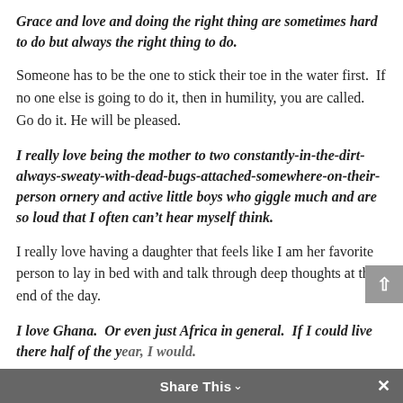Grace and love and doing the right thing are sometimes hard to do but always the right thing to do.
Someone has to be the one to stick their toe in the water first.  If no one else is going to do it, then in humility, you are called.  Go do it. He will be pleased.
I really love being the mother to two constantly-in-the-dirt-always-sweaty-with-dead-bugs-attached-somewhere-on-their-person ornery and active little boys who giggle much and are so loud that I often can't hear myself think.
I really love having a daughter that feels like I am her favorite person to lay in bed with and talk through deep thoughts at the end of the day.
I love Ghana.  Or even just Africa in general.  If I could live there half of the year, I would.
Share This